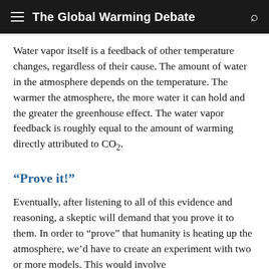The Global Warming Debate
Water vapor itself is a feedback of other temperature changes, regardless of their cause. The amount of water in the atmosphere depends on the temperature. The warmer the atmosphere, the more water it can hold and the greater the greenhouse effect. The water vapor feedback is roughly equal to the amount of warming directly attributed to CO₂.
“Prove it!”
Eventually, after listening to all of this evidence and reasoning, a skeptic will demand that you prove it to them. In order to “prove” that humanity is heating up the atmosphere, we’d have to create an experiment with two or more models. This would involve